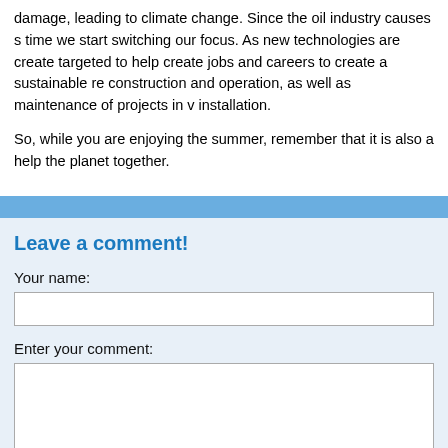damage, leading to climate change. Since the oil industry causes s time we start switching our focus. As new technologies are create targeted to help create jobs and careers to create a sustainable re construction and operation, as well as maintenance of projects in v installation.
So, while you are enjoying the summer, remember that it is also a help the planet together.
Leave a comment!
Your name:
Enter your comment: